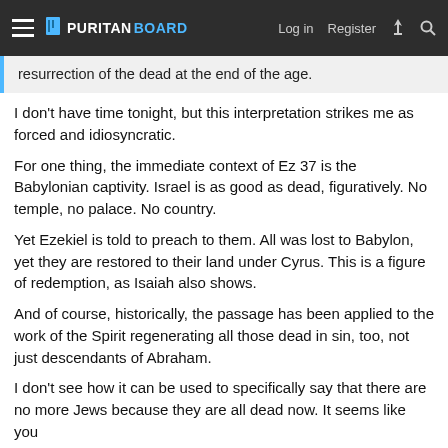PURITAN BOARD — Log in  Register
resurrection of the dead at the end of the age.
I don't have time tonight, but this interpretation strikes me as forced and idiosyncratic.
For one thing, the immediate context of Ez 37 is the Babylonian captivity. Israel is as good as dead, figuratively. No temple, no palace. No country.
Yet Ezekiel is told to preach to them. All was lost to Babylon, yet they are restored to their land under Cyrus. This is a figure of redemption, as Isaiah also shows.
And of course, historically, the passage has been applied to the work of the Spirit regenerating all those dead in sin, too, not just descendants of Abraham.
I don't see how it can be used to specifically say that there are no more Jews because they are all dead now. It seems like you have to impose a mingled history and that two claims…